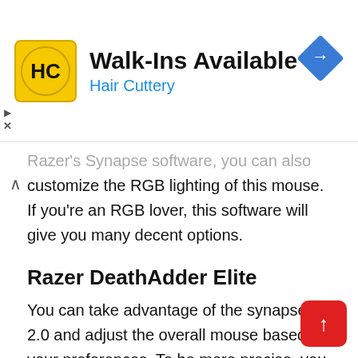[Figure (advertisement): Hair Cuttery advertisement banner with yellow logo showing HC initials, text 'Walk-Ins Available' and 'Hair Cuttery' in blue, and a blue diamond navigation icon on the right]
Razer's Synapse software, you can also customize the RGB lighting of this mouse. If you're an RGB lover, this software will give you many decent options.
Razer DeathAdder Elite
You can take advantage of the synapse 2.0 and adjust the overall mouse based on your preferences. To be more precise, you can adjust the RGB lightning, calibrate the mouse to suit different surfaces, adjust the DPI, and much more. The software as a whole is really intuitive and you won't deal with any orientation problems since every tab will inform you what it is about.